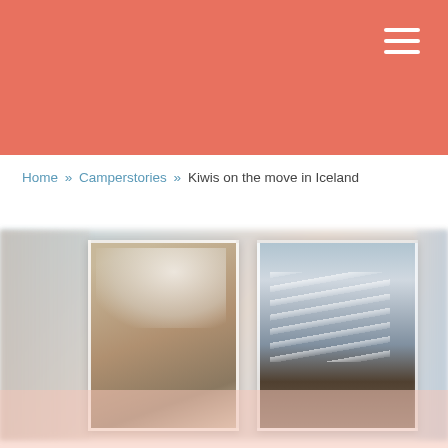Navigation header with hamburger menu
Home » Camperstories » Kiwis on the move in Iceland
[Figure (photo): Photo collage showing Iceland scenes: a geyser erupting (center-left) and Gullfoss waterfall (center-right), with blurred landscape images on the sides]